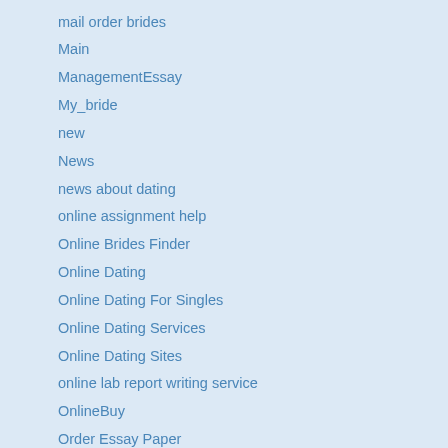mail order brides
Main
ManagementEssay
My_bride
new
News
news about dating
online assignment help
Online Brides Finder
Online Dating
Online Dating For Singles
Online Dating Services
Online Dating Sites
online lab report writing service
OnlineBuy
Order Essay Paper
Order Essays
Order Women Online